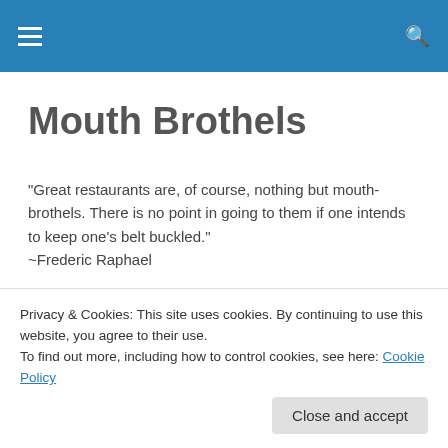Mouth Brothels — site header navigation bar
Mouth Brothels
"Great restaurants are, of course, nothing but mouth-brothels. There is no point in going to them if one intends to keep one's belt buckled." ~Frederic Raphael
MONTHLY ARCHIVES: DECEMBER 2011
Red Velvet Crinkle Cookies
Privacy & Cookies: This site uses cookies. By continuing to use this website, you agree to their use.
To find out more, including how to control cookies, see here: Cookie Policy
Close and accept